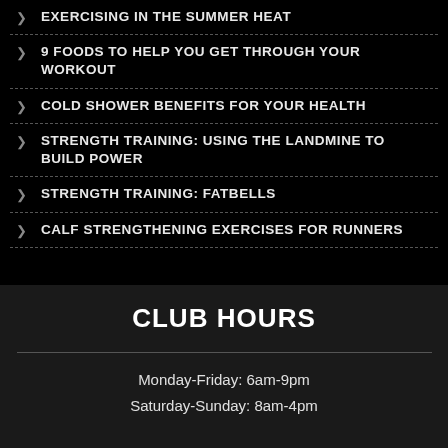EXERCISING IN THE SUMMER HEAT
9 FOODS TO HELP YOU GET THROUGH YOUR WORKOUT
COLD SHOWER BENEFITS FOR YOUR HEALTH
STRENGTH TRAINING: USING THE LANDMINE TO BUILD POWER
STRENGTH TRAINING: FATBELLS
CALF STRENGTHENING EXERCISES FOR RUNNERS
CLUB HOURS
Monday-Friday: 6am-9pm
Saturday-Sunday: 8am-4pm